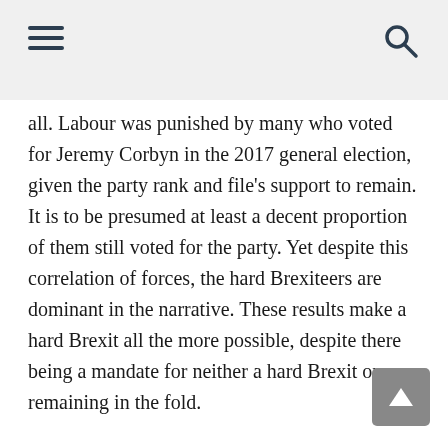all. Labour was punished by many who voted for Jeremy Corbyn in the 2017 general election, given the party rank and file's support to remain. It is to be presumed at least a decent proportion of them still voted for the party. Yet despite this correlation of forces, the hard Brexiteers are dominant in the narrative. These results make a hard Brexit all the more possible, despite there being a mandate for neither a hard Brexit or remaining in the fold.
Overall, the proportion supporting national populist options in most of Europe fell in the 25%-40% continuum; similar to US President Donald Trump's unmovable base support. Only in Hungary and Italy did such parties/coalitions win an absolute majority of votes in this election. Such parties